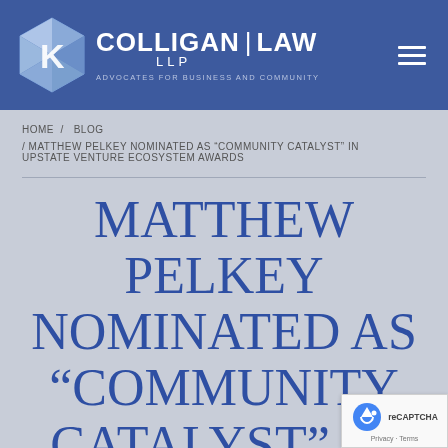[Figure (logo): Colligan Law LLP logo with diamond/K shield icon, white text on blue background, tagline: ADVOCATES FOR BUSINESS AND COMMUNITY]
HOME / BLOG / MATTHEW PELKEY NOMINATED AS “COMMUNITY CATALYST” IN UPSTATE VENTURE ECOSYSTEM AWARDS
MATTHEW PELKEY NOMINATED AS “COMMUNITY CATALYST” IN UPSTATE VENTUR…